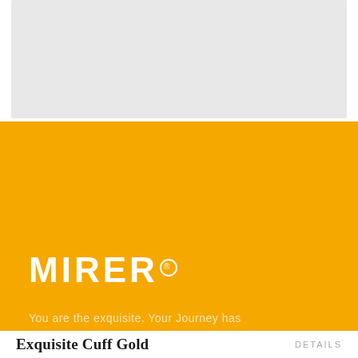[Figure (photo): Light gray rectangular product image placeholder at the top of the page]
[Figure (logo): Gold/amber background brand banner with white MIRER logo (registered trademark symbol in circle) and partial tagline text: 'You are the exquisite. Your Journey has']
Exquisite Cuff Gold
DETAILS